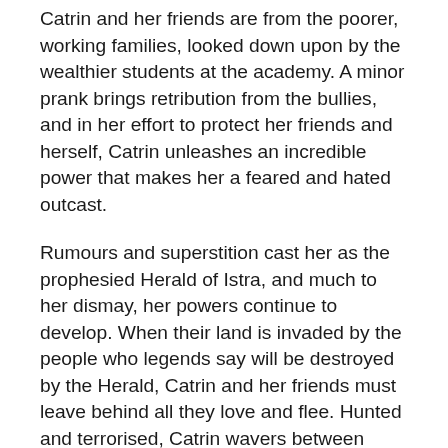Catrin and her friends are from the poorer, working families, looked down upon by the wealthier students at the academy. A minor prank brings retribution from the bullies, and in her effort to protect her friends and herself, Catrin unleashes an incredible power that makes her a feared and hated outcast.
Rumours and superstition cast her as the prophesied Herald of Istra, and much to her dismay, her powers continue to develop. When their land is invaded by the people who legends say will be destroyed by the Herald, Catrin and her friends must leave behind all they love and flee. Hunted and terrorised, Catrin wavers between despair and confidence until at last she accepts that she is the Herald, and uses her power to destroy the attacking fleet, giving herself a chance to escape and, hopefully, discover more about her destiny.